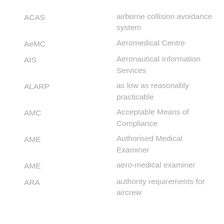ACAS — airborne collision avoidance system
AeMC — Aeromedical Centre
AIS — Aeronautical Information Services
ALARP — as low as reasonably practicable
AMC — Acceptable Means of Compliance
AME — Authorised Medical Examiner
AME — aero-medical examiner
ARA — authority requirements for aircrew